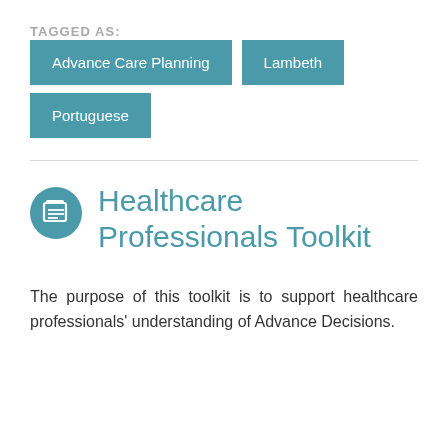TAGGED AS:
Advance Care Planning
Lambeth
Portuguese
Healthcare Professionals Toolkit
The purpose of this toolkit is to support healthcare professionals' understanding of Advance Decisions.